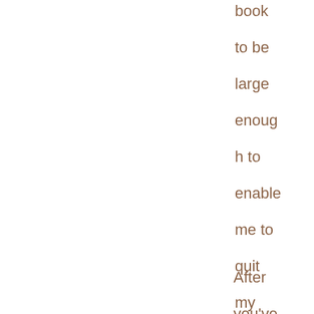book to be large enough to enable me to quit my day job and write full time?
After you've received a request for pages as an